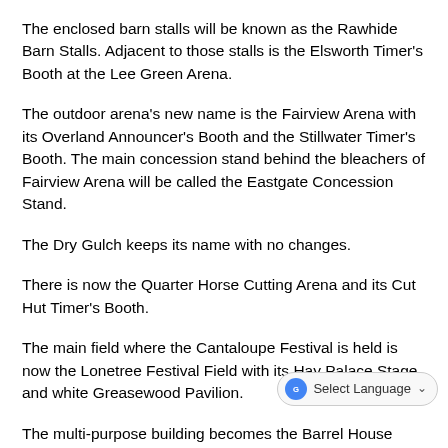The enclosed barn stalls will be known as the Rawhide Barn Stalls. Adjacent to those stalls is the Elsworth Timer's Booth at the Lee Green Arena.
The outdoor arena's new name is the Fairview Arena with its Overland Announcer's Booth and the Stillwater Timer's Booth. The main concession stand behind the bleachers of Fairview Arena will be called the Eastgate Concession Stand.
The Dry Gulch keeps its name with no changes.
There is now the Quarter Horse Cutting Arena and its Cut Hut Timer's Booth.
The main field where the Cantaloupe Festival is held is now the Lonetree Festival Field with its Hay Palace Stage and white Greasewood Pavilion.
The multi-purpose building becomes the Barrel House